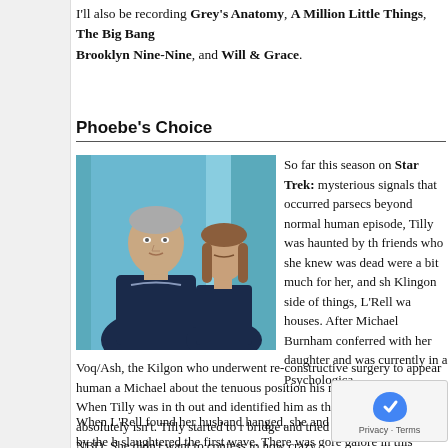I'll also be recording Grey's Anatomy, A Million Little Things, The Big Bang Theory, Brooklyn Nine-Nine, and Will & Grace.
Phoebe's Choice
[Figure (photo): Two actors in Star Trek: Discovery uniforms — a man in the foreground looking upward and a woman behind him with eyes closed, both in dark blue Starfleet uniforms against a blue background.]
So far this season on Star Trek: mysterious signals that occurred parsecs beyond normal human episode, Tilly was haunted by th friends who she knew was dead were a bit much for her, and sh Klingon side of things, L'Rell wa houses. After Michael Burnham conferred with her daughter and was currently in a Psychologica
Voq/Ash, the Kilgon who underwent re-constructive surgery to appear human a Michael about the tenuous position his mate L'Rell was in. When Tilly was in th out and identified him as the captain, when he absolutely isn't. Tilly started to r bridge and tried to play it off like NBD. She didn't want to confess to how crazy
When L'Rell found her husband hanged, she and Voq were ambushed by the h slaughtered the first wave. There was gore galore in this Klingon melee heaven figured out that Tilly was in fact infested with a dark matter/spore contain it. The Kor wet works squad moved in on L'Rell & Voq an Philippa Georgiou interceded and saved them. To save face and a fake execution of her mate, Voq/Ash, and their hybrid child. In fact, they are a